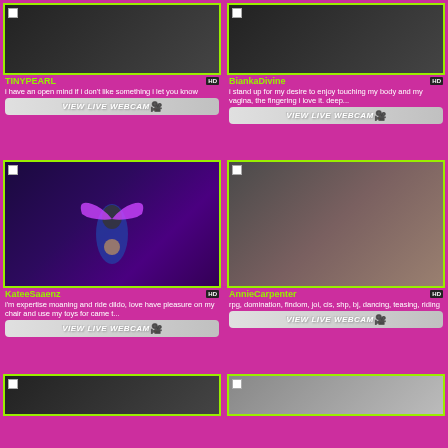[Figure (photo): Dark photo of person, partial view]
TINYPEARL HD
i have an open mind if i don't like something i let you know
[Figure (other): VIEW LIVE WEBCAM button with webcam icon]
[Figure (photo): Dark photo, partial view]
BiankaDivine HD
i stand up for my desire to enjoy touching my body and my vagina, the fingering i love it. deep...
[Figure (other): VIEW LIVE WEBCAM button with webcam icon]
[Figure (photo): Woman with glowing purple angel wings in dark room with neon lighting]
KateeSaaenz HD
i'm expertise moaning and ride dildo, love have pleasure on my chair and use my toys for came t...
[Figure (other): VIEW LIVE WEBCAM button with webcam icon]
[Figure (photo): Woman in black outfit posing in room]
AnnieCarpenter HD
rpg, domination, findom, joi, cis, shp, bj, dancing, teasing, riding
[Figure (other): VIEW LIVE WEBCAM button with webcam icon]
[Figure (photo): Dark image, partially visible at bottom]
[Figure (photo): Light room image, partially visible at bottom]